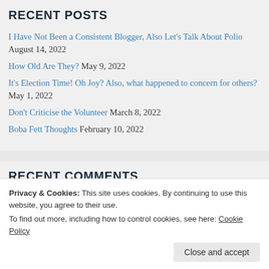RECENT POSTS
I Have Not Been a Consistent Blogger, Also Let's Talk About Polio August 14, 2022
How Old Are They? May 9, 2022
It's Election Time! Oh Joy? Also, what happened to concern for others? May 1, 2022
Don't Criticise the Volunteer March 8, 2022
Boba Fett Thoughts February 10, 2022
RECENT COMMENTS
Leonie on ConZealand is Coming!
Privacy & Cookies: This site uses cookies. By continuing to use this website, you agree to their use. To find out more, including how to control cookies, see here: Cookie Policy
Close and accept
Moyna Di Francesco on What A Week!